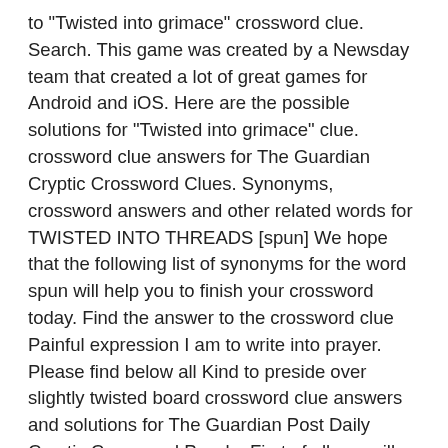to "Twisted into grimace" crossword clue. Search. This game was created by a Newsday team that created a lot of great games for Android and iOS. Here are the possible solutions for "Twisted into grimace" clue. crossword clue answers for The Guardian Cryptic Crossword Clues. Synonyms, crossword answers and other related words for TWISTED INTO THREADS [spun] We hope that the following list of synonyms for the word spun will help you to finish your crossword today. Find the answer to the crossword clue Painful expression I am to write into prayer. Please find below all Kind to preside over slightly twisted board crossword clue answers and solutions for The Guardian Post Daily Cryptic Crossword Puzzle. First of all, we will look for a few extra hints for this entry: Twisted into grimace. The crossword clue 'Grimace cause' published 1 time/s and has 1 unique answer/s on our system. Next time when searching the web for a clue, try using the search term “Rope twisted into whip for slap and tickle?